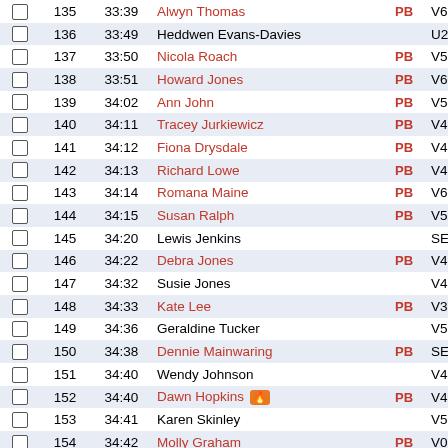|  | Pos | Time | Name | PB | Cat |
| --- | --- | --- | --- | --- | --- |
| ☐ | 135 | 33:39 | Alwyn Thomas | PB | V6… |
| ☐ | 136 | 33:49 | Heddwen Evans-Davies |  | U2… |
| ☐ | 137 | 33:50 | Nicola Roach | PB | V5… |
| ☐ | 138 | 33:51 | Howard Jones | PB | V6… |
| ☐ | 139 | 34:02 | Ann John | PB | V5… |
| ☐ | 140 | 34:11 | Tracey Jurkiewicz | PB | V4… |
| ☐ | 141 | 34:12 | Fiona Drysdale | PB | V4… |
| ☐ | 142 | 34:13 | Richard Lowe | PB | V4… |
| ☐ | 143 | 34:14 | Romana Maine | PB | V6… |
| ☐ | 144 | 34:15 | Susan Ralph | PB | V5… |
| ☐ | 145 | 34:20 | Lewis Jenkins |  | SE… |
| ☐ | 146 | 34:22 | Debra Jones | PB | V4… |
| ☐ | 147 | 34:32 | Susie Jones |  | V4… |
| ☐ | 148 | 34:33 | Kate Lee | PB | V3… |
| ☐ | 149 | 34:36 | Geraldine Tucker |  | V5… |
| ☐ | 150 | 34:38 | Dennie Mainwaring | PB | SE… |
| ☐ | 151 | 34:40 | Wendy Johnson |  | V4… |
| ☐ | 152 | 34:40 | Dawn Hopkins 🔥 | PB | V4… |
| ☐ | 153 | 34:41 | Karen Skinley |  | V5… |
| ☐ | 154 | 34:42 | Molly Graham | PB | V0… |